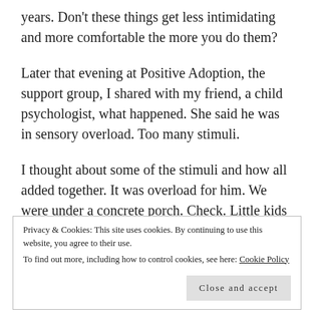years. Don’t these things get less intimidating and more comfortable the more you do them?
Later that evening at Positive Adoption, the support group, I shared with my friend, a child psychologist, what happened. She said he was in sensory overload. Too many stimuli.
I thought about some of the stimuli and how all added together. It was overload for him. We were under a concrete porch. Check. Little kids making
Privacy & Cookies: This site uses cookies. By continuing to use this website, you agree to their use.
To find out more, including how to control cookies, see here: Cookie Policy
Close and accept
do this and hightailed it for the bathroom).